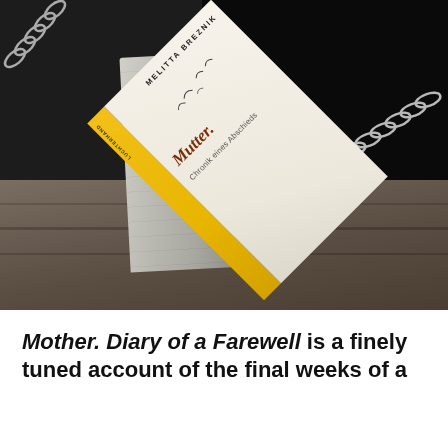[Figure (photo): A book titled 'Mutter. Chronik eines Abschieds' by Melitta Breznik suspended by chains, with a yellow spine, tilted at an angle against a dark background with a wooden surface below and a concrete post.]
Mother. Diary of a Farewell is a finely tuned account of the final weeks of a